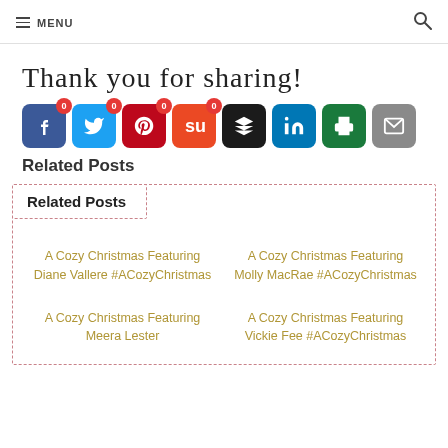MENU
Thank you for sharing!
[Figure (infographic): Row of social sharing icon buttons: Facebook (badge 0), Twitter (badge 0), Pinterest (badge 0), StumbleUpon (badge 0), Buffer, LinkedIn, Print, Email]
Related Posts
Related Posts
A Cozy Christmas Featuring Diane Vallere #ACozyChristmas
A Cozy Christmas Featuring Molly MacRae #ACozyChristmas
A Cozy Christmas Featuring Meera Lester
A Cozy Christmas Featuring Vickie Fee #ACozyChristmas